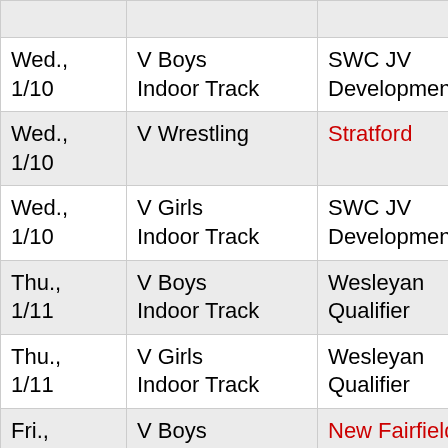| Date | Event | Opponent/Details |
| --- | --- | --- |
|  |  |  |
| Wed., 1/10 | V Boys Indoor Track | SWC JV Developmental |
| Wed., 1/10 | V Wrestling | Stratford |
| Wed., 1/10 | V Girls Indoor Track | SWC JV Developmental |
| Thu., 1/11 | V Boys Indoor Track | Wesleyan Qualifier |
| Thu., 1/11 | V Girls Indoor Track | Wesleyan Qualifier |
| Fri., 1/12 | V Boys Basketball | New Fairfield |